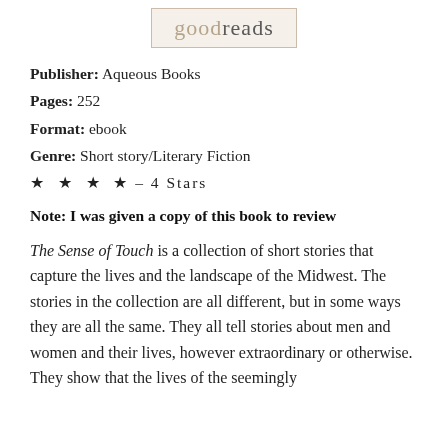[Figure (logo): Goodreads logo in a beige/tan bordered box with the text 'goodreads']
Publisher: Aqueous Books
Pages: 252
Format: ebook
Genre: Short story/Literary Fiction
★  ★  ★  ★ – 4 Stars
Note: I was given a copy of this book to review
The Sense of Touch is a collection of short stories that capture the lives and the landscape of the Midwest. The stories in the collection are all different, but in some ways they are all the same. They all tell stories about men and women and their lives, however extraordinary or otherwise. They show that the lives of the seemingly